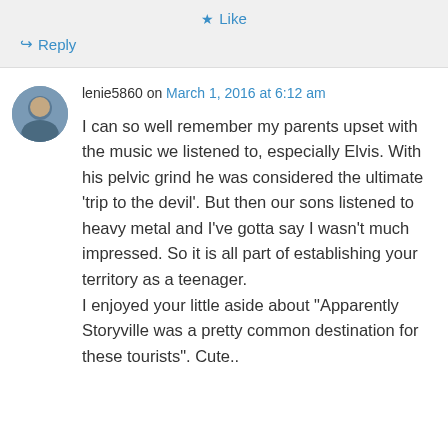Like
Reply
lenie5860 on March 1, 2016 at 6:12 am
I can so well remember my parents upset with the music we listened to, especially Elvis. With his pelvic grind he was considered the ultimate ‘trip to the devil’. But then our sons listened to heavy metal and I’ve gotta say I wasn’t much impressed. So it is all part of establishing your territory as a teenager.
I enjoyed your little aside about “Apparently Storyville was a pretty common destination for these tourists”. Cute..